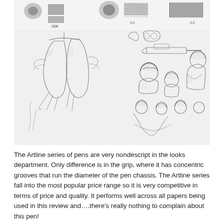[Figure (illustration): Top row: pen stroke samples and hatching swatches at various nib sizes (0.05, 0.1, 0.6, 0.8). Main area: pencil sketch of hanging game birds on the left, and pencil sketch of military soldiers/figures with equipment and gear on the right.]
The Artline series of pens are very nondescript in the looks department. Only difference is in the grip, where it has concentric grooves that run the diameter of the pen chassis. The Artline series fall into the most popular price range so it is very competitive in terms of price and quality. It performs well across all papers being used in this review and….there's really nothing to complain about this pen!
+ Feels robust in the hand